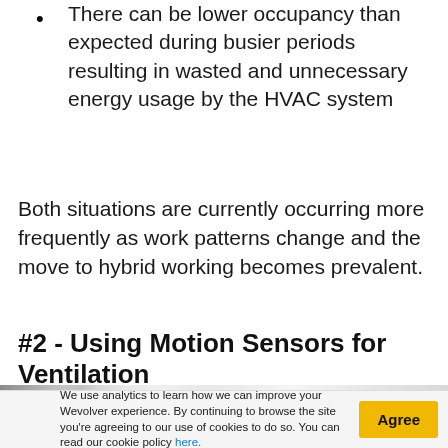There can be lower occupancy than expected during busier periods resulting in wasted and unnecessary energy usage by the HVAC system
Both situations are currently occurring more frequently as work patterns change and the move to hybrid working becomes prevalent.
#2 - Using Motion Sensors for Ventilation
[Figure (photo): Partial photo strip showing a ventilation or sensor-related image, mostly grey/silver tones]
We use analytics to learn how we can improve your Wevolver experience. By continuing to browse the site you're agreeing to our use of cookies to do so. You can read our cookie policy here.